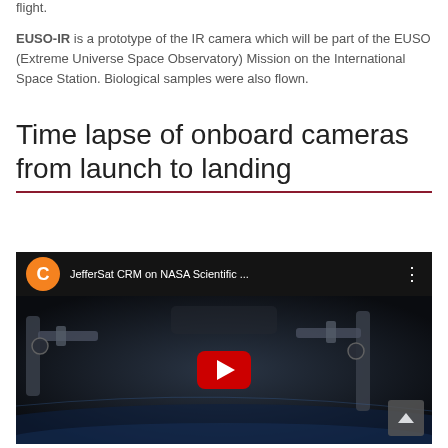flight.
EUSO-IR is a prototype of the IR camera which will be part of the EUSO (Extreme Universe Space Observatory) Mission on the International Space Station. Biological samples were also flown.
Time lapse of onboard cameras from launch to landing
[Figure (screenshot): YouTube video thumbnail showing a NASA Scientific Balloon flight time lapse. Channel icon 'C' in orange circle. Video title 'JefferSat CRM on NASA Scientific ...' with three-dot menu. Dark background showing mechanical/robotic arm equipment against Earth's atmosphere. Red YouTube play button centered. Scroll-to-top button in bottom right corner.]